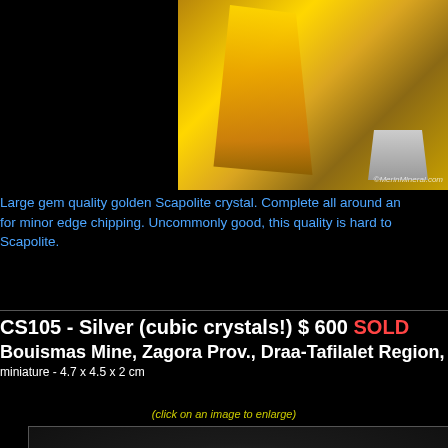[Figure (photo): Golden Scapolite crystal on metal stand against white background, watermark ©MerinMineral.com]
Large gem quality golden Scapolite crystal. Complete all around an for minor edge chipping. Uncommonly good, this quality is hard to Scapolite.
CS105 - Silver (cubic crystals!) $ 600 SOLD
Bouismas Mine, Zagora Prov., Draa-Tafilalet Region, Mor
miniature - 4.7 x 4.5 x 2 cm
(click on an image to enlarge)
[Figure (photo): Silver cubic crystal mineral specimen cluster on dark background]